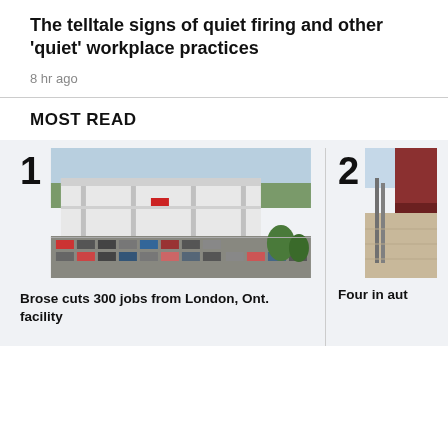The telltale signs of quiet firing and other 'quiet' workplace practices
8 hr ago
MOST READ
[Figure (photo): Aerial view of Brose manufacturing facility in London, Ontario — large white industrial building with parking lot full of cars]
Brose cuts 300 jobs from London, Ont. facility
[Figure (photo): Partially visible second news image — appears to show outdoor industrial or construction scene]
Four in aut